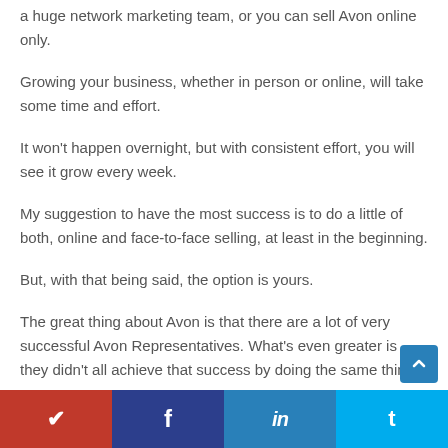a huge network marketing team, or you can sell Avon online only.
Growing your business, whether in person or online, will take some time and effort.
It won't happen overnight, but with consistent effort, you will see it grow every week.
My suggestion to have the most success is to do a little of both, online and face-to-face selling, at least in the beginning.
But, with that being said, the option is yours.
The great thing about Avon is that there are a lot of very successful Avon Representatives. What's even greater is they didn't all achieve that success by doing the same thing.
Pinterest | Facebook | LinkedIn | Twitter social share bar